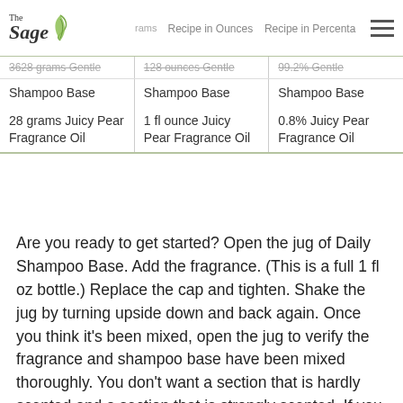The Sage | Recipe in Ounces | Recipe in Percentages
| Recipe in Grams | Recipe in Ounces | Recipe in Percentages |
| --- | --- | --- |
| 3628 grams Gentle Shampoo Base | 128 ounces Gentle Shampoo Base | 99.2% Gentle Shampoo Base |
| 28 grams Juicy Pear Fragrance Oil | 1 fl ounce Juicy Pear Fragrance Oil | 0.8% Juicy Pear Fragrance Oil |
Are you ready to get started? Open the jug of Daily Shampoo Base. Add the fragrance. (This is a full 1 fl oz bottle.) Replace the cap and tighten. Shake the jug by turning upside down and back again. Once you think it's been mixed, open the jug to verify the fragrance and shampoo base have been mixed thoroughly. You don't want a section that is hardly scented and a section that is strongly scented. If you would like to add a color to your shampoo, now is the time to do it! Now you are ready to fill and label your desired containers!